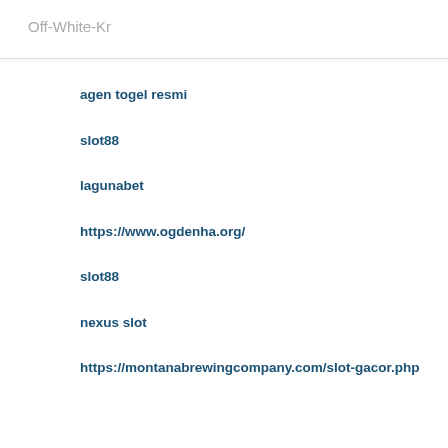Off-White-Kr
agen togel resmi
slot88
lagunabet
https://www.ogdenha.org/
slot88
nexus slot
https://montanabrewingcompany.com/slot-gacor.php